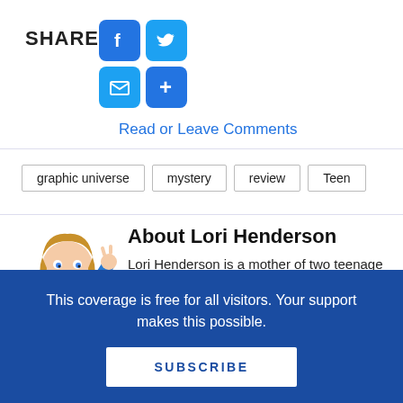SHARE:
[Figure (infographic): Social share icons: Facebook (blue square with f), Twitter (blue square with bird), Email (blue square with envelope), Google+ (blue square with plus). Also a 'Read or Leave Comments' link in blue text.]
graphic universe
mystery
review
Teen
About Lori Henderson
[Figure (illustration): Cartoon illustration of a woman with blonde hair wearing a blue top, standing and pointing.]
Lori Henderson is a mother of two teenage daughters and an avid reader. She blogs about manga at her
This coverage is free for all visitors. Your support makes this possible.
SUBSCRIBE